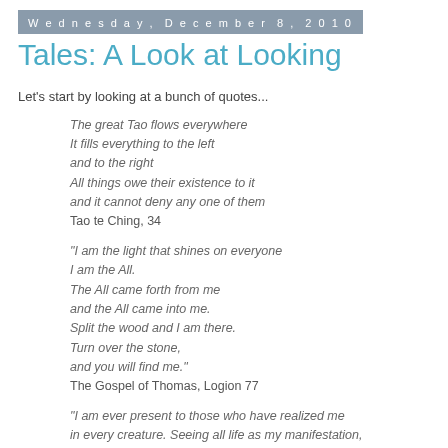Wednesday, December 8, 2010
Tales: A Look at Looking
Let's start by looking at a bunch of quotes...
The great Tao flows everywhere
It fills everything to the left
and to the right
All things owe their existence to it
and it cannot deny any one of them
Tao te Ching, 34
"I am the light that shines on everyone
I am the All.
The All came forth from me
and the All came into me.
Split the wood and I am there.
Turn over the stone,
and you will find me."
The Gospel of Thomas, Logion 77
"I am ever present to those who have realized me
in every creature. Seeing all life as my manifestation,
they are never separated from me. They worship me
in the hearts of all, and all their actions proceed from me.
Wherever they live, they abide in me."
The Bhagavad Gita, 6:30-31